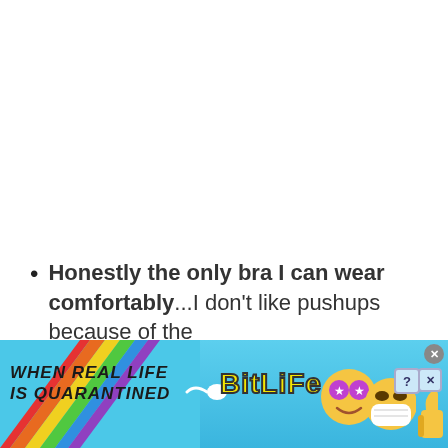Honestly the only bra I can wear comfortably...I don't like pushups because of the
[Figure (infographic): BitLife mobile game advertisement banner. Rainbow stripe on left, text 'WHEN REAL LIFE IS QUARANTINED' in bold italic, sperm icon, BitLife logo in yellow, emoji characters (star-eyes face, masked face, thumbs up), close/help/X buttons in top right corner.]